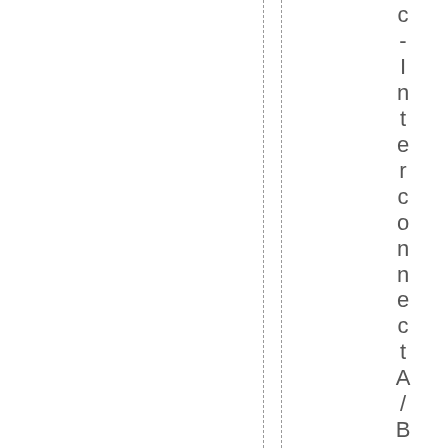c-InterconnectA/B. Makesureyouha